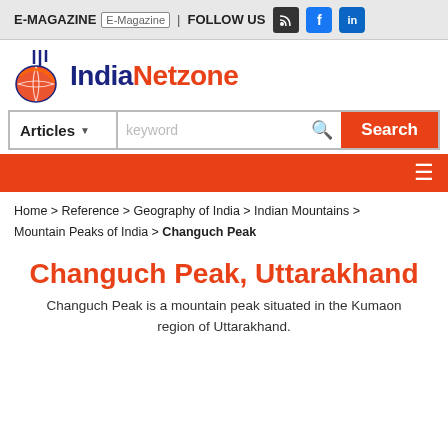E-MAGAZINE | FOLLOW US
[Figure (logo): IndiaNetzone logo with globe icon]
Articles ▾  keyword  Search
☰ navigation menu
Home > Reference > Geography of India > Indian Mountains > Mountain Peaks of India > Changuch Peak
Changuch Peak, Uttarakhand
Changuch Peak is a mountain peak situated in the Kumaon region of Uttarakhand.